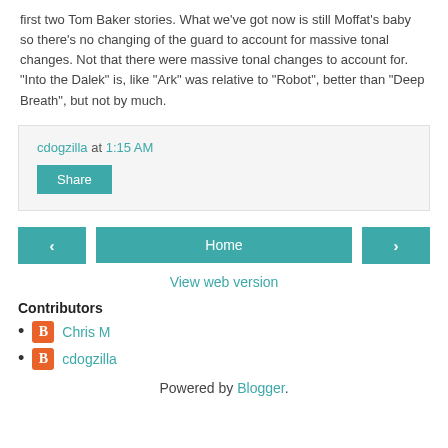first two Tom Baker stories. What we've got now is still Moffat's baby so there's no changing of the guard to account for massive tonal changes. Not that there were massive tonal changes to account for. "Into the Dalek" is, like "Ark" was relative to "Robot", better than "Deep Breath", but not by much.
cdogzilla at 1:15 AM
Share
‹
Home
›
View web version
Contributors
Chris M
cdogzilla
Powered by Blogger.